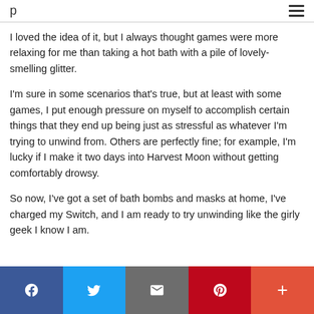p
I loved the idea of it, but I always thought games were more relaxing for me than taking a hot bath with a pile of lovely-smelling glitter.
I'm sure in some scenarios that's true, but at least with some games, I put enough pressure on myself to accomplish certain things that they end up being just as stressful as whatever I'm trying to unwind from. Others are perfectly fine; for example, I'm lucky if I make it two days into Harvest Moon without getting comfortably drowsy.
So now, I've got a set of bath bombs and masks at home, I've charged my Switch, and I am ready to try unwinding like the girly geek I know I am.
Social share bar: Facebook, Twitter, Email, Pinterest, More